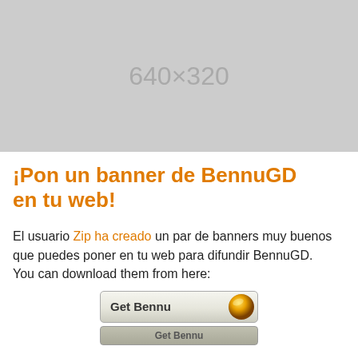[Figure (other): Gray placeholder image box with dimensions label '640×320']
¡Pon un banner de BennuGD en tu web!
El usuario Zip ha creado un par de banners muy buenos que puedes poner en tu web para difundir BennuGD.
You can download them from here:
[Figure (other): Two download buttons labeled 'Get Bennu' with yellow/golden orb graphic]